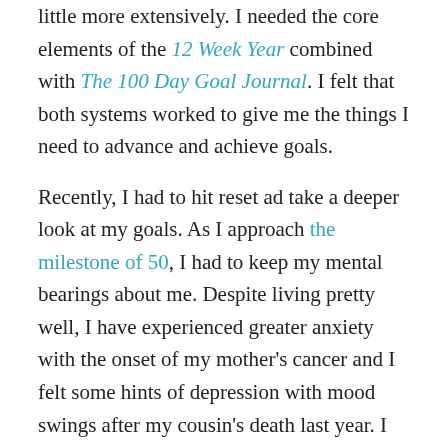little more extensively. I needed the core elements of the 12 Week Year combined with The 100 Day Goal Journal. I felt that both systems worked to give me the things I need to advance and achieve goals.
Recently, I had to hit reset ad take a deeper look at my goals. As I approach the milestone of 50, I had to keep my mental bearings about me. Despite living pretty well, I have experienced greater anxiety with the onset of my mother's cancer and I felt some hints of depression with mood swings after my cousin's death last year. I remain highly aware of the day to day condition of those living with mental illness such as schizophrenia and bipolar, but I am also aware of the potential for a mental breakdown based upon the various pressures of this life.